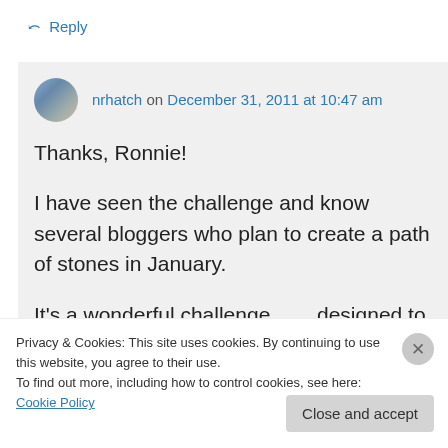↪ Reply
nrhatch on December 31, 2011 at 10:47 am
Thanks, Ronnie!
I have seen the challenge and know several bloggers who plan to create a path of stones in January.
It's a wonderful challenge . . . designed to
Privacy & Cookies: This site uses cookies. By continuing to use this website, you agree to their use.
To find out more, including how to control cookies, see here: Cookie Policy
Close and accept